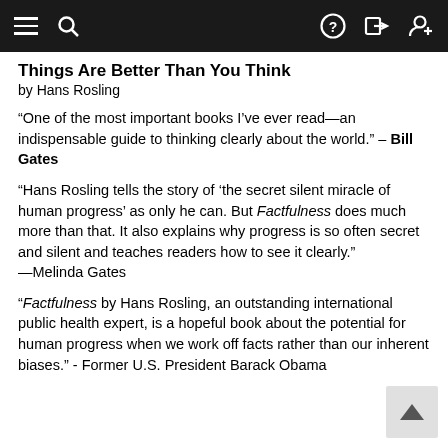Navigation bar with hamburger menu, search, help, login, and profile icons
Things Are Better Than You Think
by Hans Rosling
“One of the most important books I’ve ever read—an indispensable guide to thinking clearly about the world.” – Bill Gates
“Hans Rosling tells the story of ‘the secret silent miracle of human progress’ as only he can. But Factfulness does much more than that. It also explains why progress is so often secret and silent and teaches readers how to see it clearly.” —Melinda Gates
“Factfulness by Hans Rosling, an outstanding international public health expert, is a hopeful book about the potential for human progress when we work off facts rather than our inherent biases.” - Former U.S. President Barack Obama